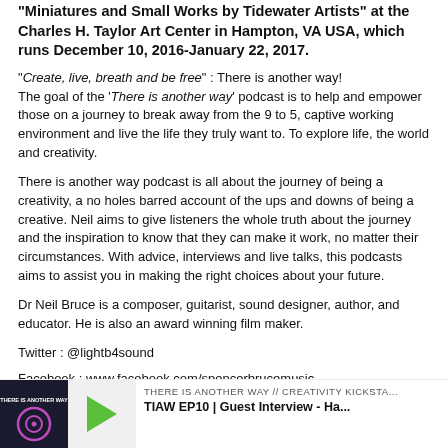"Miniatures and Small Works by Tidewater Artists" at the Charles H. Taylor Art Center in Hampton, VA USA, which runs December 10, 2016-January 22, 2017.
"Create, live, breath and be free" : There is another way! The goal of the 'There is another way' podcast is to help and empower those on a journey to break away from the 9 to 5, captive working environment and live the life they truly want to. To explore life, the world and creativity.
There is another way podcast is all about the journey of being a creativity, a no holes barred account of the ups and downs of being a creative. Neil aims to give listeners the whole truth about the journey and the inspiration to know that they can make it work, no matter their circumstances. With advice, interviews and live talks, this podcasts aims to assist you in making the right choices about your future.
Dr Neil Bruce is a composer, guitarist, sound designer, author, and educator. He is also an award winning film maker.
Twitter : @lightb4sound
Facebook : www.facebook.com/spencerbrucemusic
web : www.spencerbruce.com
[Figure (screenshot): Podcast player bar showing thumbnail image with 'THERE IS ANOTHER WAY' text in purple on dark background, a green play button, and podcast title text 'THERE IS ANOTHER WAY // CREATIVITY KICKSTA... TIAW EP10 | Guest Interview - Ha...']